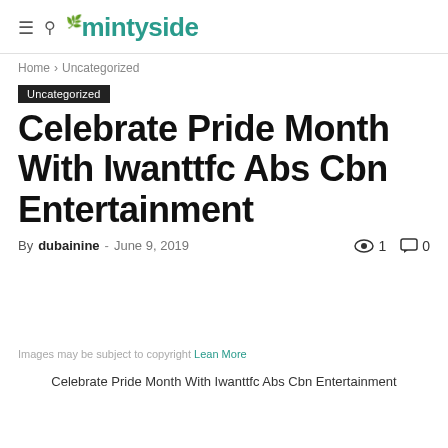☰ 🔍 mintyside
Home › Uncategorized
Uncategorized
Celebrate Pride Month With Iwanttfc Abs Cbn Entertainment
By dubainine - June 9, 2019  👁 1  💬 0
Images may be subject to copyright Lean More
Celebrate Pride Month With Iwanttfc Abs Cbn Entertainment